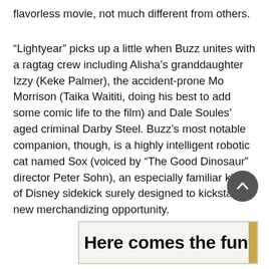flavorless movie, not much different from others.
“Lightyear” picks up a little when Buzz unites with a ragtag crew including Alisha’s granddaughter Izzy (Keke Palmer), the accident-prone Mo Morrison (Taika Waititi, doing his best to add some comic life to the film) and Dale Soules’ aged criminal Darby Steel. Buzz’s most notable companion, though, is a highly intelligent robotic cat named Sox (voiced by “The Good Dinosaur” director Peter Sohn), an especially familiar kind of Disney sidekick surely designed to kickstart a new merchandizing opportunity.
[Figure (other): Circular scroll-to-top button with upward chevron arrow, dark gray background]
Here comes the fun!